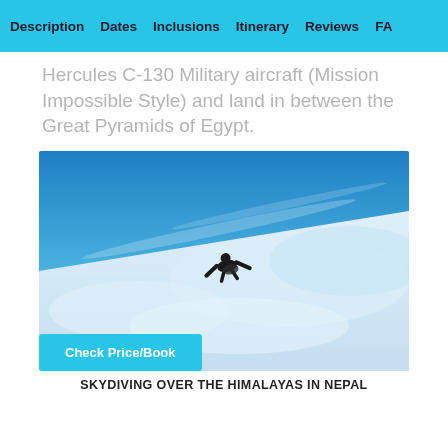Description  Dates  Inclusions  Itinerary  Reviews  FAQ
Hercules C-130 Military aircraft (Mission Impossible Style) and land in between the Great Pyramids of Egypt.
[Figure (photo): Skydiver in freefall above clouds with blue sky background, tilted perspective shot]
Check Price/Book
SKYDIVING OVER THE HIMALAYAS IN NEPAL